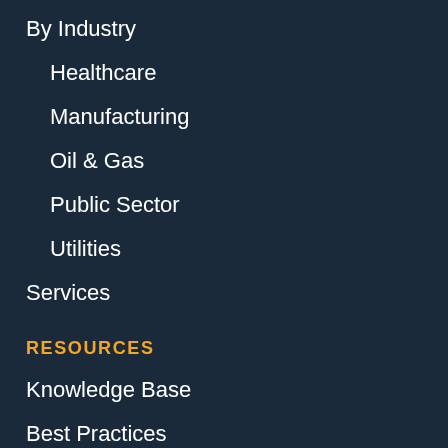By Industry
Healthcare
Manufacturing
Oil & Gas
Public Sector
Utilities
Services
RESOURCES
Knowledge Base
Best Practices